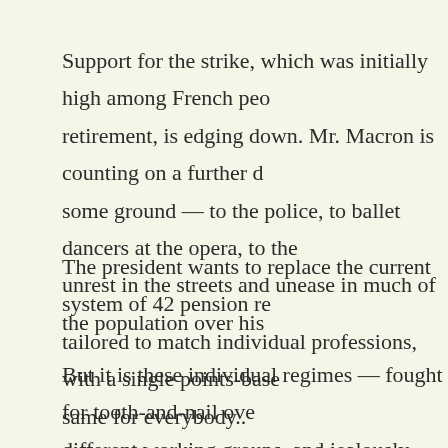Support for the strike, which was initially high among French peo retirement, is edging down. Mr. Macron is counting on a further d some ground — to the police, to ballet dancers at the opera, to the unrest in the streets and unease in much of the population over his
The president wants to replace the current system of 42 pension re tailored to match individual professions, with a single points-base same for everybody..
But it is these individual regimes — fought for tooth-and-nail ove different working groups, and jealously guarded as embodying rig are at issue.